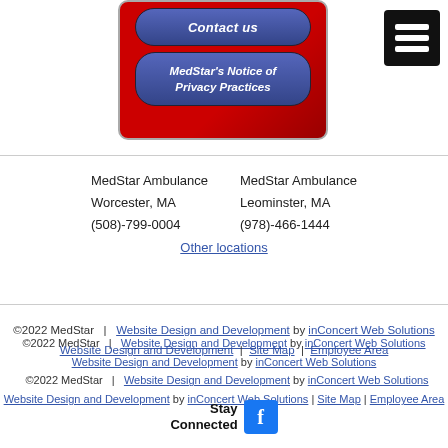[Figure (screenshot): Red rounded box with two blue gradient buttons: 'Contact us' and 'MedStar's Notice of Privacy Practices']
[Figure (other): Black hamburger menu icon button in top right corner]
MedStar Ambulance Worcester, MA (508)-799-0004    MedStar Ambulance Leominster, MA (978)-466-1444
Other locations
©2022 MedStar | Website Design and Development by inConcert Web Solutions | Site Map | Employee Area
Stay Connected